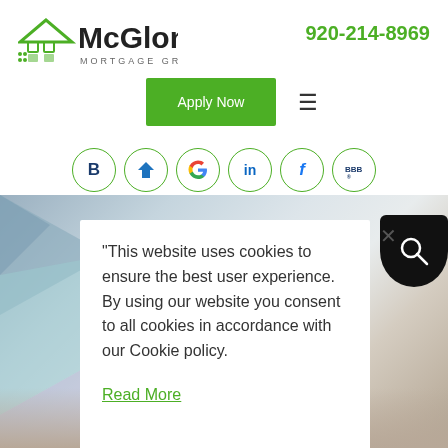[Figure (logo): McGlone Mortgage Group logo with green house icon and bold McGlone text]
920-214-8969
[Figure (other): Green Apply Now button and hamburger menu icon]
[Figure (other): Row of 6 circular social media icons: B (Bankrate), Zillow, Google, LinkedIn, Facebook, BBB]
[Figure (photo): Background photo of a modern interior workspace with desk and laptop]
"This website uses cookies to ensure the best user experience. By using our website you consent to all cookies in accordance with our Cookie policy.
Read More